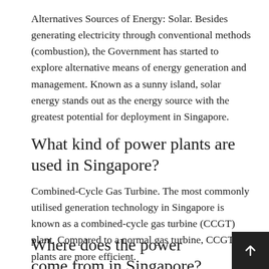Alternatives Sources of Energy: Solar. Besides generating electricity through conventional methods (combustion), the Government has started to explore alternative means of energy generation and management. Known as a sunny island, solar energy stands out as the energy source with the greatest potential for deployment in Singapore.
What kind of power plants are used in Singapore?
Combined-Cycle Gas Turbine. The most commonly utilised generation technology in Singapore is known as a combined-cycle gas turbine (CCGT) plant. Compared to a normal gas turbine, CCGT plants are more efficient.
Where does the power come from in Singapore?